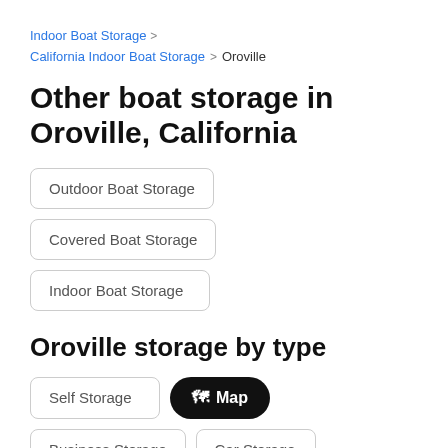Indoor Boat Storage >
California Indoor Boat Storage > Oroville
Other boat storage in Oroville, California
Outdoor Boat Storage
Covered Boat Storage
Indoor Boat Storage
Oroville storage by type
Self Storage
Map
Business Storage
Car Storage